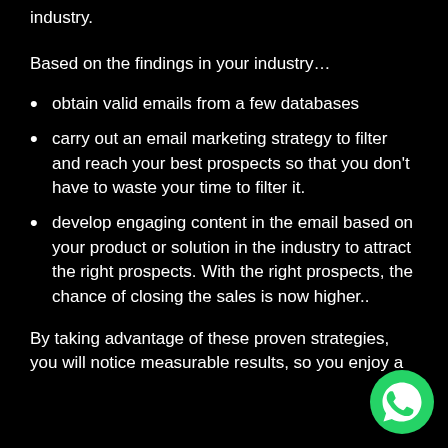industry.
Based on the findings in your industry…
obtain valid emails from a few databases
carry out an email marketing strategy to filter and reach your best prospects so that you don't have to waste your time to filter it.
develop engaging content in the email based on your product or solution in the industry to attract the right prospects. With the right prospects, the chance of closing the sales is now higher..
By taking advantage of these proven strategies, you will notice measurable results, so you enjoy a